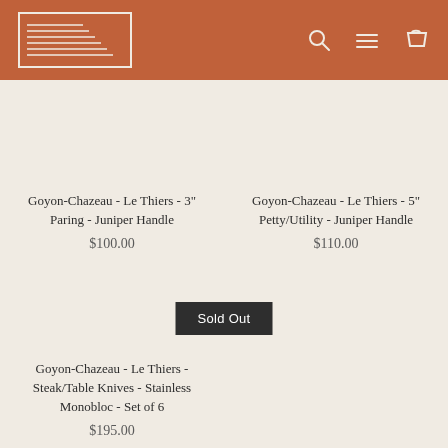[Figure (logo): Brand logo with diagonal lines pattern inside a rectangle, white on terracotta background, with search, menu, and cart icons on the right]
Goyon-Chazeau - Le Thiers - 3" Paring - Juniper Handle
$100.00
Goyon-Chazeau - Le Thiers - 5" Petty/Utility - Juniper Handle
$110.00
Sold Out
Goyon-Chazeau - Le Thiers - Steak/Table Knives - Stainless Monobloc - Set of 6
$195.00